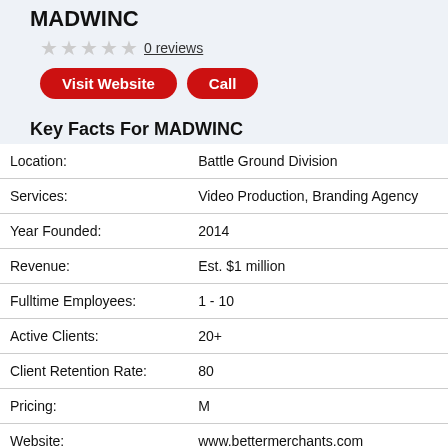MADWINC
0 reviews
Visit Website | Call
Key Facts For MADWINC
|  |  |
| --- | --- |
| Location: | Battle Ground Division |
| Services: | Video Production, Branding Agency |
| Year Founded: | 2014 |
| Revenue: | Est. $1 million |
| Fulltime Employees: | 1 - 10 |
| Active Clients: | 20+ |
| Client Retention Rate: | 80 |
| Pricing: | M |
| Website: | www.bettermerchants.com |
| More Info: | View Profile |